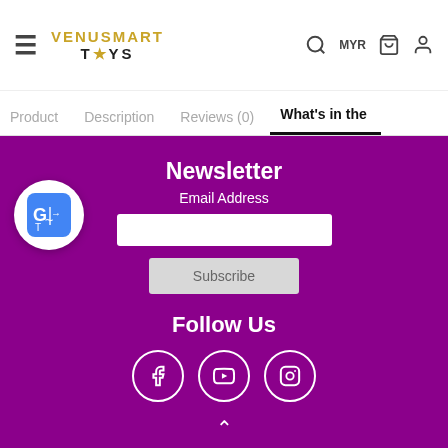VENUSMART TOYS — MYR
Product | Description | Reviews (0) | What's in the
Newsletter
Email Address
Follow Us
[Figure (logo): Google Translate logo bubble]
[Figure (infographic): Social media icons: Facebook, YouTube, Instagram in white circles on purple background]